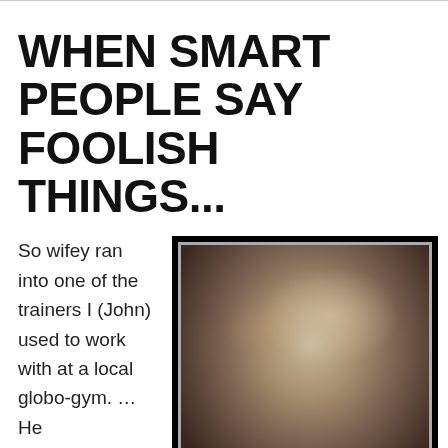WHEN SMART PEOPLE SAY FOOLISH THINGS...
So wifey ran into one of the trainers I (John) used to work with at a local globo-gym. …He
[Figure (illustration): Motivational-style meme image on black background showing a close-up grayscale photo of a bearded muscular man with the large spaced text 'FOOLS' and subtitle 'I pity them.' beneath the photo.]
mentioned he had run into a couple of CrossFitters in their mid-40's.  "CF is a young man's game… It's too